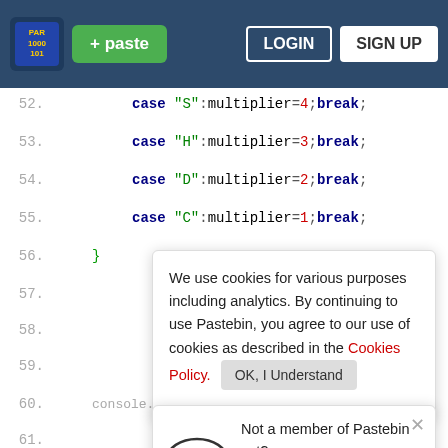+ paste  LOGIN  SIGN UP
[Figure (screenshot): Pastebin code editor screenshot showing lines 52-66 of JavaScript code with cookie consent banner and sign-up popup overlaid]
We use cookies for various purposes including analytics. By continuing to use Pastebin, you agree to our use of cookies as described in the Cookies Policy.  OK, I Understand
Not a member of Pastebin yet? Sign Up, it unlocks many cool features!